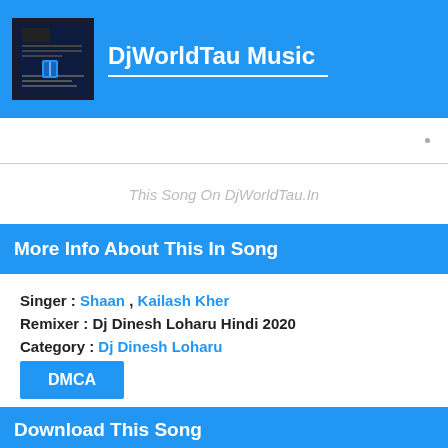DjWorldTau Music
This Song On DjWorldTau.In
More Info About This In Song
Singer : Shaan , Kailash Kher
Remixer : Dj Dinesh Loharu Hindi 2020
Category : Dj Dinesh Loharu
DMCA
Download This Song
[Fast Download Now]